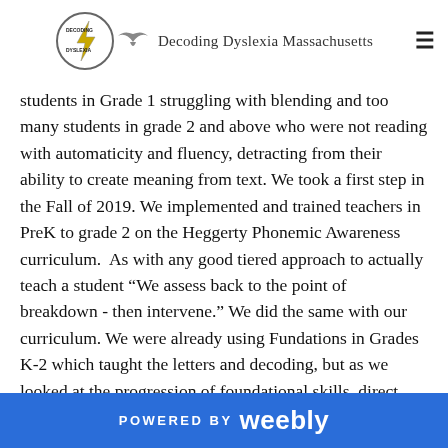Decoding Dyslexia Massachusetts
students in Grade 1 struggling with blending and too many students in grade 2 and above who were not reading with automaticity and fluency, detracting from their ability to create meaning from text. We took a first step in the Fall of 2019. We implemented and trained teachers in PreK to grade 2 on the Heggerty Phonemic Awareness curriculum.  As with any good tiered approach to actually teach a student “We assess back to the point of breakdown - then intervene.” We did the same with our curriculum. We were already using Fundations in Grades K-2 which taught the letters and decoding, but as we looked at the progression of foundational skills, direct, systematic and explicit instruction on phonemic awareness was missing.
POWERED BY weebly